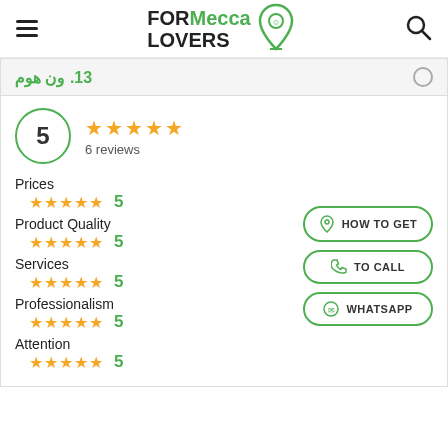FOR Mecca LOVERS
13. ون هوم
5 — 6 reviews
Prices ★★★★★ 5
Product Quality ★★★★★ 5
Services ★★★★★ 5
Professionalism ★★★★★ 5
Attention ★★★★★ 5
HOW TO GET
TO CALL
WHATSAPP